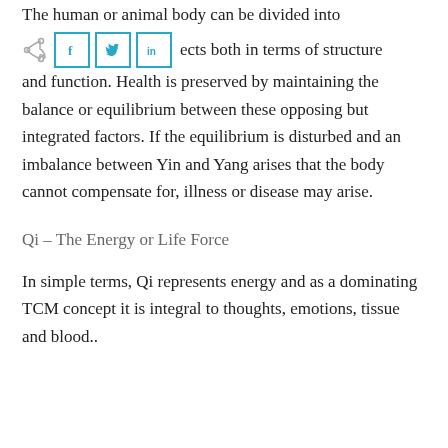The human or animal body can be divided into [share buttons] ects both in terms of structure and function. Health is preserved by maintaining the balance or equilibrium between these opposing but integrated factors. If the equilibrium is disturbed and an imbalance between Yin and Yang arises that the body cannot compensate for, illness or disease may arise.
Qi – The Energy or Life Force
In simple terms, Qi represents energy and as a dominating TCM concept it is integral to thoughts, emotions, tissue and blood..